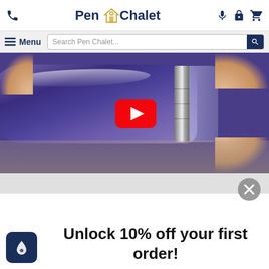Pen Chalet - Phone, Menu, Search, Icons
[Figure (screenshot): Video thumbnail of a blue/purple fountain pen being held, with a YouTube play button overlay]
Unlock 10% off your first order!